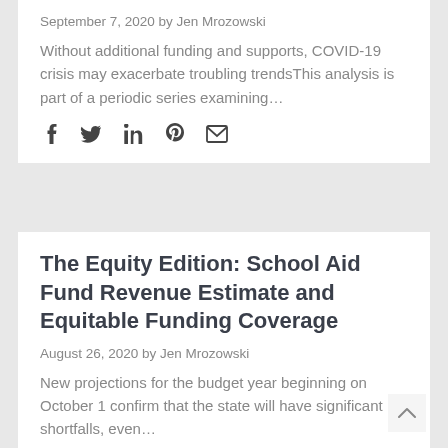September 7, 2020 by Jen Mrozowski
Without additional funding and supports, COVID-19 crisis may exacerbate troubling trendsThis analysis is part of a periodic series examining…
[Figure (other): Social sharing icons: Facebook (f), Twitter (bird/y), LinkedIn (in), Pinterest (p), Email (envelope)]
The Equity Edition: School Aid Fund Revenue Estimate and Equitable Funding Coverage
August 26, 2020 by Jen Mrozowski
New projections for the budget year beginning on October 1 confirm that the state will have significant shortfalls, even…